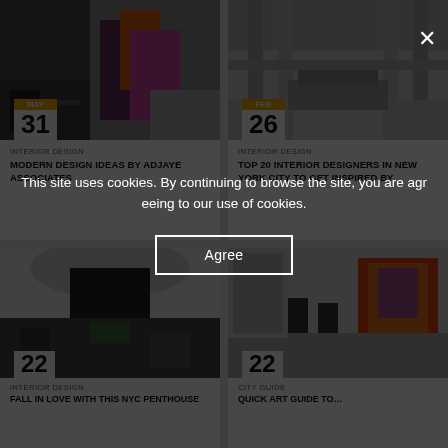[Figure (photo): Interior corridor with colorful graffiti mural on wall, modern architectural space]
MAY
31
INTERIOR DESIGN
MODERN DESIGN IDEAS BY ADJAYE ASSOCIATES
[Figure (photo): Grand interior lobby with columns and modern seating, monochrome tones]
FEB
26
INTERIOR DESIGN
TOP 20 INTERIOR DESIGNERS IN NEW YORK CITY TO GET INSPIRED BY
[Figure (photo): Modern interior with curved white ceiling and black architectural elements]
22
INTERIOR DESIGN
FALL IN LOVE WITH THIS NYC PENTHOUSE
[Figure (photo): Art gallery interior with colorful paintings and visitors]
22
CITY GUIDE
QUICK ART GUIDE TO…
This site uses cookies. By continuing to browse the site, you are agreeing to our use of cookies.
Agree